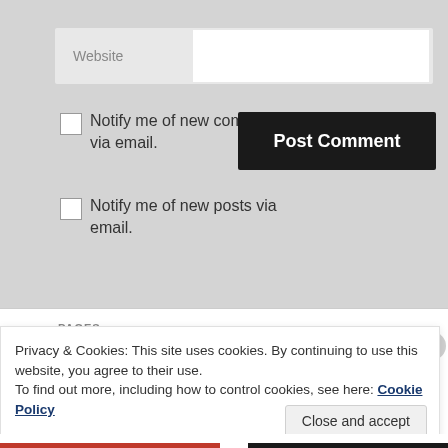Website
Notify me of new comments via email.
Post Comment
Notify me of new posts via email.
PAGES
Privacy & Cookies: This site uses cookies. By continuing to use this website, you agree to their use.
To find out more, including how to control cookies, see here: Cookie Policy
Close and accept